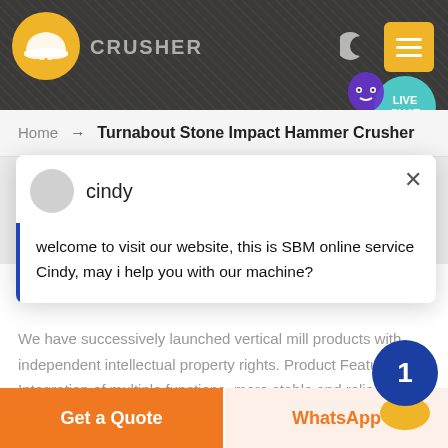[Figure (screenshot): Website header banner showing mining crusher machinery background, company logo (hard hat icon in orange/yellow), CRUSHER brand text, moon/dark-mode icon, yellow hamburger menu button, and teal LIVE CHAT bubble with mascot]
Home → Turnabout Stone Impact Hammer Crusher
cindy
welcome to visit our website, this is SBM online service Cindy, may i help you with our machine?
We have successively launched vertical mill products with independent intellectual property rights. Product Features: Integration of multiple functions, more stable and reliable production and more excellent capacity
Get a Quote
WhatsApp